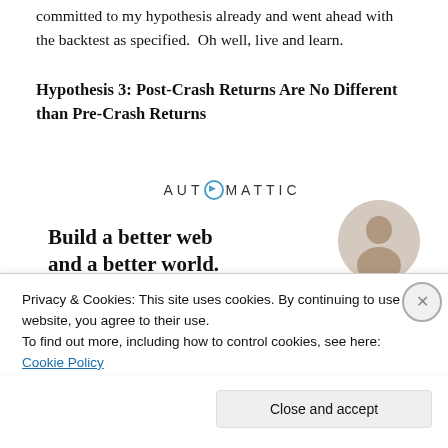committed to my hypothesis already and went ahead with the backtest as specified.  Oh well, live and learn.
Hypothesis 3: Post-Crash Returns Are No Different than Pre-Crash Returns
[Figure (screenshot): Automattic advertisement: logo reading 'AUTOMATTIC', tagline 'Build a better web and a better world.', blue Apply button, circular photo of a man thinking, on white background.]
Privacy & Cookies: This site uses cookies. By continuing to use this website, you agree to their use.
To find out more, including how to control cookies, see here: Cookie Policy
Close and accept